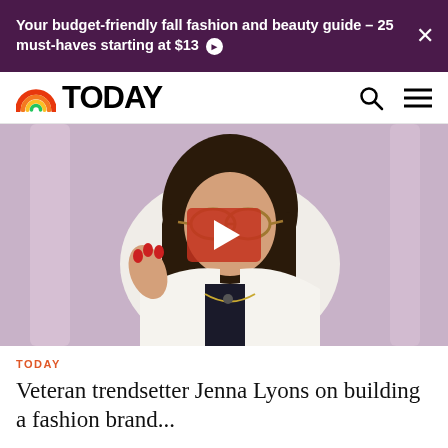Your budget-friendly fall fashion and beauty guide – 25 must-haves starting at $13
[Figure (logo): TODAY show logo with rainbow arc and bold TODAY text]
[Figure (photo): Woman with dark hair, glasses, white blazer, gold necklace, gesturing with hand. Pink/purple studio background. Red play button overlay in center.]
TODAY
Veteran trendsetter Jenna Lyons on building a fashion brand...